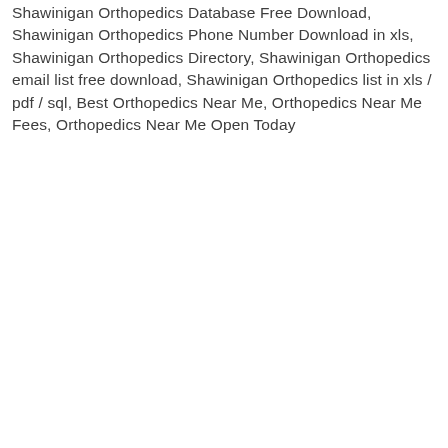Shawinigan Orthopedics Database Free Download, Shawinigan Orthopedics Phone Number Download in xls, Shawinigan Orthopedics Directory, Shawinigan Orthopedics email list free download, Shawinigan Orthopedics list in xls / pdf / sql, Best Orthopedics Near Me, Orthopedics Near Me Fees, Orthopedics Near Me Open Today